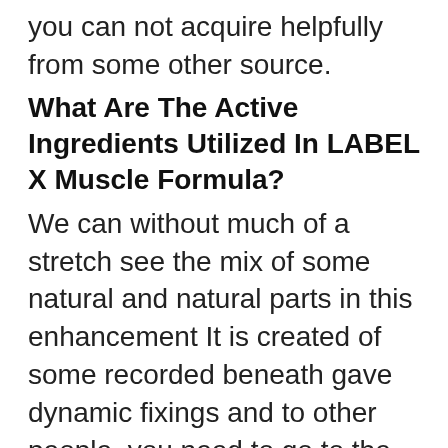you can not acquire helpfully from some other source.
What Are The Active Ingredients Utilized In LABEL X Muscle Formula?
We can without much of a stretch see the mix of some natural and natural parts in this enhancement It is created of some recorded beneath gave dynamic fixings and to other people, you need to go to the authority site page of the thing.
CALCIUM-This is fundamental alongside a truly important fixing since it further develops bones health and furthermore makes your body more grounded.
CREATINE-It helps in lifting weights with